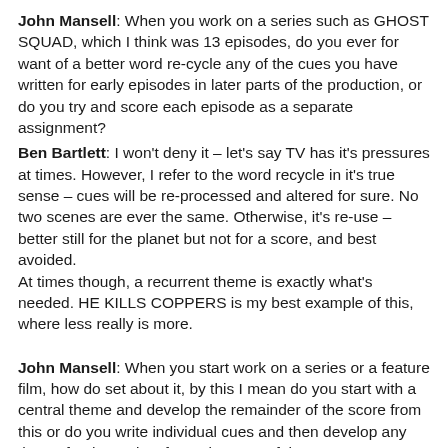John Mansell: When you work on a series such as GHOST SQUAD, which I think was 13 episodes, do you ever for want of a better word re-cycle any of the cues you have written for early episodes in later parts of the production, or do you try and score each episode as a separate assignment?
Ben Bartlett: I won't deny it – let's say TV has it's pressures at times. However, I refer to the word recycle in it's true sense – cues will be re-processed and altered for sure. No two scenes are ever the same. Otherwise, it's re-use – better still for the planet but not for a score, and best avoided. At times though, a recurrent theme is exactly what's needed. HE KILLS COPPERS is my best example of this, where less really is more.
John Mansell: When you start work on a series or a feature film, how do set about it, by this I mean do you start with a central theme and develop the remainder of the score from this or do you write individual cues and then develop any theme for the project from elements of the score?